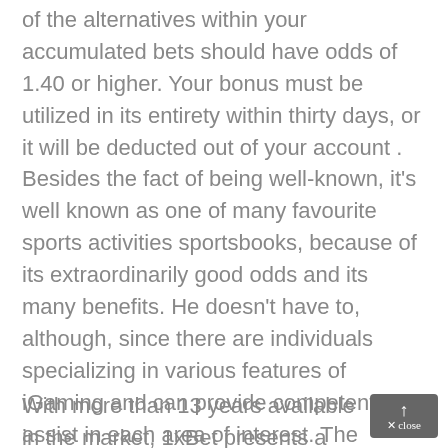of the alternatives within your accumulated bets should have odds of 1.40 or higher. Your bonus must be utilized in its entirety within thirty days, or it will be deducted out of your account . Besides the fact of being well-known, it's well known as one of many favourite sports activities sportsbooks, because of its extraordinarily good odds and its many benefits. He doesn't have to, although, since there are individuals specializing in various features of iGaming and can provide competent assist in each area of interest. The Lakers are in critical hazard of lacking the playoffs this season, and that turns into a good larger problem without Davis within the lineup.
With more than 13 years available in the market, 1xBet presents a user experience and quality tha